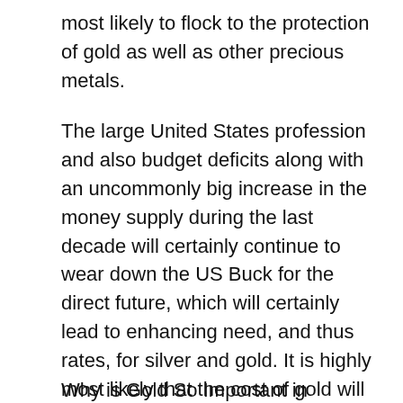most likely to flock to the protection of gold as well as other precious metals.
The large United States profession and also budget deficits along with an uncommonly big increase in the money supply during the last decade will certainly continue to wear down the US Buck for the direct future, which will certainly lead to enhancing need, and thus rates, for silver and gold. It is highly most likely that the cost of gold will certainly never again be as reduced as it is today. Unlike paper currency and various other commodities, gold has a history of holding its worth, as well as even rising, throughout economic crises.
Why is Gold So Important in Diversification?